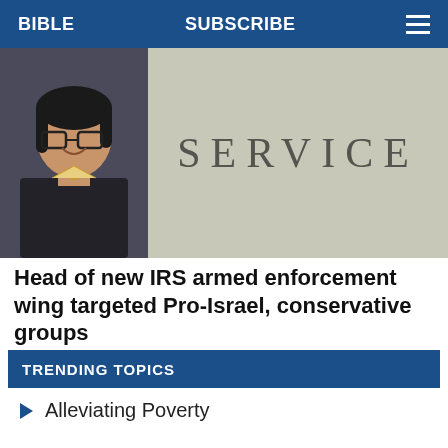BIBLE   SUBSCRIBE   ☰
[Figure (photo): Left: woman with glasses smiling, wearing dark jacket. Right: stone surface engraved with word SERVICE in large spaced letters.]
Head of new IRS armed enforcement wing targeted Pro-Israel, conservative groups
TRENDING TOPICS
Alleviating Poverty
Antisemitism
Archeology